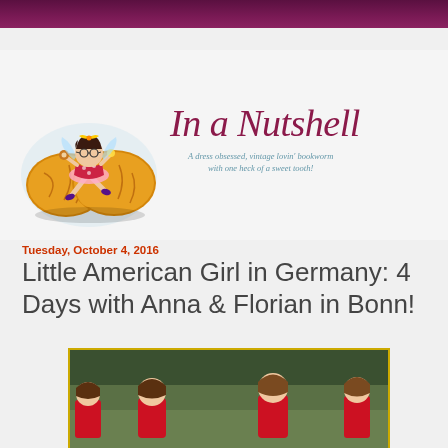[Figure (illustration): Blog header with purple decorative bar at top]
[Figure (logo): In a Nutshell blog logo: illustrated girl sitting on peanut with cursive text 'In a Nutshell' and subtitle 'A dress obsessed, vintage lovin' bookworm with one heck of a sweet tooth!']
Tuesday, October 4, 2016
Little American Girl in Germany: 4 Days with Anna & Florian in Bonn!
[Figure (photo): Two young women in red tops standing in a park with trees in background, photo appears twice side by side]